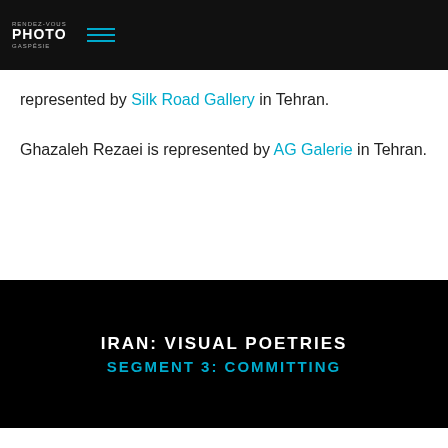RENDEZ-VOUS PHOTO GASPESIE
represented by Silk Road Gallery in Tehran. Ghazaleh Rezaei is represented by AG Galerie in Tehran.
IRAN: VISUAL POETRIES
SEGMENT 3: COMMITTING